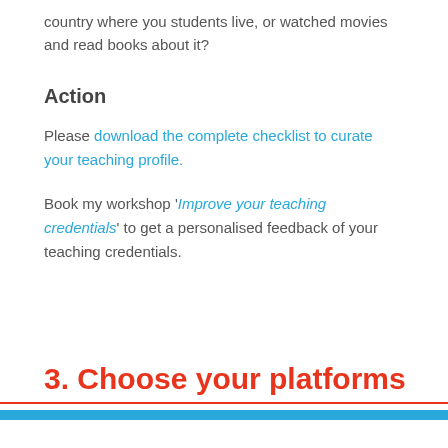country where you students live, or watched movies and read books about it?
Action
Please download the complete checklist to curate your teaching profile.
Book my workshop 'Improve your teaching credentials' to get a personalised feedback of your teaching credentials.
3. Choose your platforms